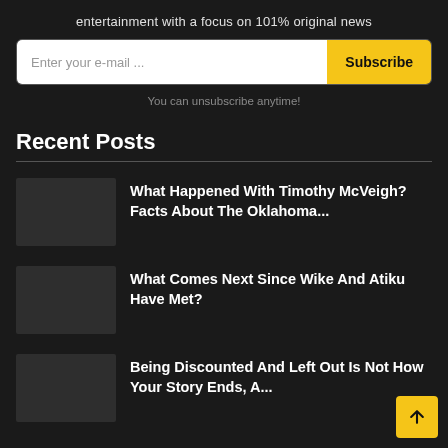entertainment with a focus on 101% original news
Enter your e-mail ...
Subscribe
You can unsubscribe anytime!
Recent Posts
What Happened With Timothy McVeigh? Facts About The Oklahoma...
What Comes Next Since Wike And Atiku Have Met?
Being Discounted And Left Out Is Not How Your Story Ends, A...